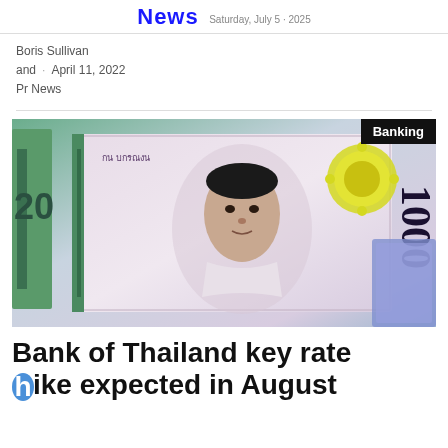News · Saturday, July 5 · 2025
Boris Sullivan and · April 11, 2022
Pr News
[Figure (photo): Close-up photograph of Thai baht banknotes including a 1000 baht note featuring a portrait of the Thai king, with a 'Banking' label badge in the top-right corner.]
Bank of Thailand key rate hike expected in August